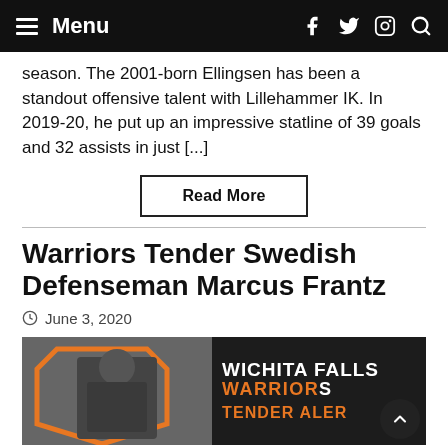Menu
season. The 2001-born Ellingsen has been a standout offensive talent with Lillehammer IK. In 2019-20, he put up an impressive statline of 39 goals and 32 assists in just [...]
Read More
Warriors Tender Swedish Defenseman Marcus Frantz
June 3, 2020
[Figure (photo): Hockey player photo with Wichita Falls Warriors Tender Alert graphic]